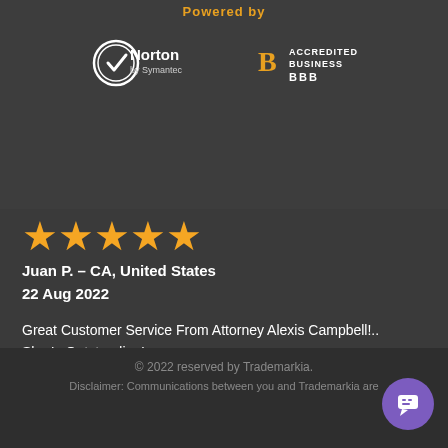Powered by
[Figure (logo): Norton by Symantec logo and BBB Accredited Business logo]
[Figure (illustration): Five orange star rating]
Juan P.  – CA, United States
22 Aug 2022
Great Customer Service From Attorney Alexis Campbell!..
She Is Outstanding!..
Many Thanks!..
Juan Pineda Sanchez
[Figure (logo): Shopper Approved logo with CLICK HERE FOR MORE REVIEWS text]
© 2022 reserved by Trademarkia.
Disclaimer: Communications between you and Trademarkia are